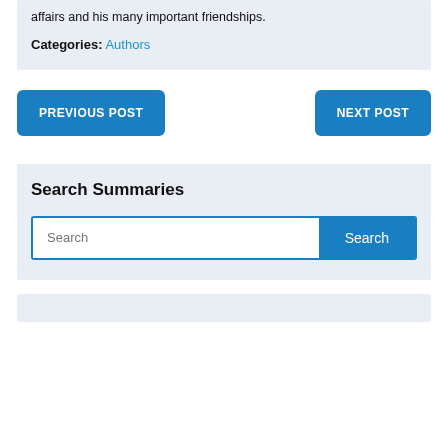affairs and his many important friendships.
Categories: Authors
PREVIOUS POST
NEXT POST
Search Summaries
Search